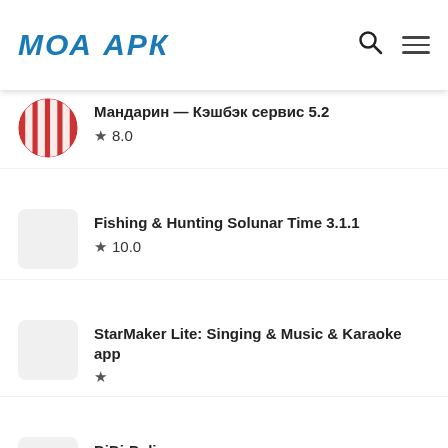МОА АРК
Мандарин — Кэшбэк сервис 5.2 ★ 8.0
Fishing & Hunting Solunar Time 3.1.1 ★ 10.0
StarMaker Lite: Singing & Music & Karaoke app ★
DiDi-Delivery